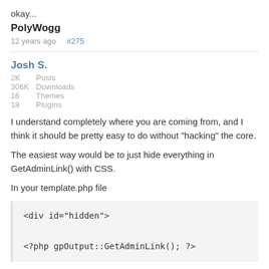okay...
PolyWogg
12 years ago    #275
Josh S.
2K    Posts
306K Downloads
16    Themes
18    Plugins
I understand completely where you are coming from, and I think it should be pretty easy to do without "hacking" the core.
The easiest way would be to just hide everything in GetAdminLink() with CSS.
In your template.php file
<div id="hidden">

<?php gpOutput::GetAdminLink(); ?>